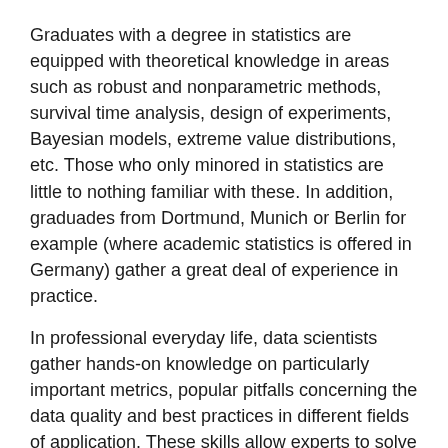Graduates with a degree in statistics are equipped with theoretical knowledge in areas such as robust and nonparametric methods, survival time analysis, design of experiments, Bayesian models, extreme value distributions, etc. Those who only minored in statistics are little to nothing familiar with these. In addition, graduades from Dortmund, Munich or Berlin for example (where academic statistics is offered in Germany) gather a great deal of experience in practice.
In professional everyday life, data scientists gather hands-on knowledge on particularly important metrics, popular pitfalls concerning the data quality and best practices in different fields of application. These skills allow experts to solve problems top-down much faster and with more meaningful results than part-time statisticians could do.
Advice is worth it
Consequat fermentum erat bibendum fermentum.